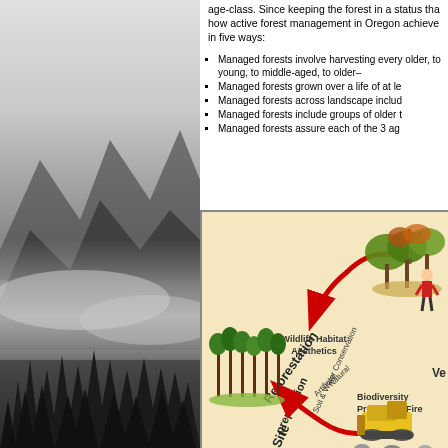age-class. Since keeping the forest in a status that how active forest management in Oregon achieve in five ways:
Managed forests involve harvesting every older, to young, to middle-aged, to older–
Managed forests grown over a life of at le
Managed forests across landscape includ
Managed forests include groups of older
Managed forests assure each of the 3 ag
[Figure (infographic): Forest management cycle diagram showing Reforestation (Artificial/Natural), Site Preparation (Soil & Water Conservation), with labels for Wildlife Habitat, Aesthetics, Biodiversity, Prescribed Fire. Red arrows indicate cycle direction. Shows illustrations of different forest stages and machinery.]